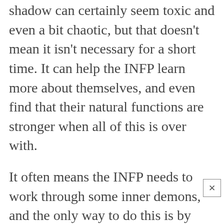shadow can certainly seem toxic and even a bit chaotic, but that doesn't mean it isn't necessary for a short time. It can help the INFP learn more about themselves, and even find that their natural functions are stronger when all of this is over with.
It often means the INFP needs to work through some inner demons, and the only way to do this is by diving into their shadow for some time. It can certainly be stressful for them and those around them, but at the same time it helps them switch things up in their lives. While we shouldn't really try to develop these